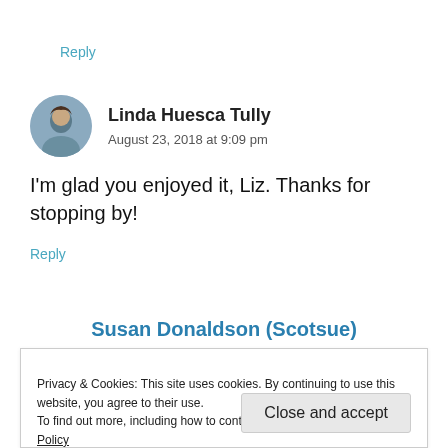Reply
Linda Huesca Tully
August 23, 2018 at 9:09 pm
I'm glad you enjoyed it, Liz. Thanks for stopping by!
Reply
Susan Donaldson (Scotsue)
Privacy & Cookies: This site uses cookies. By continuing to use this website, you agree to their use.
To find out more, including how to control cookies, see here: Cookie Policy
Close and accept
about their lives convinced us bought them close to his